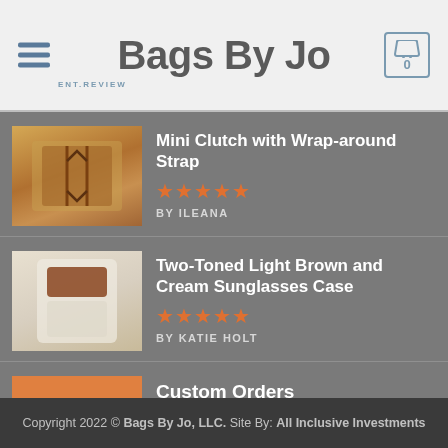Bags By Jo
Mini Clutch with Wrap-around Strap — 5 stars — BY ILEANA
Two-Toned Light Brown and Cream Sunglasses Case — 5 stars — BY KATIE HOLT
Custom Orders — 5 stars — BY MATTHEW LITTLE
Copyright 2022 © Bags By Jo, LLC. Site By: All Inclusive Investments